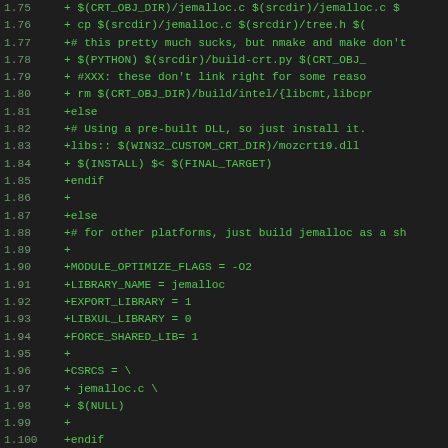[Figure (screenshot): Code diff screenshot showing lines 1.75 through 1.107 of a Makefile patch with green text on dark background. Lines show build configuration for jemalloc memory allocator including platform-specific build rules, library settings, and file includes.]